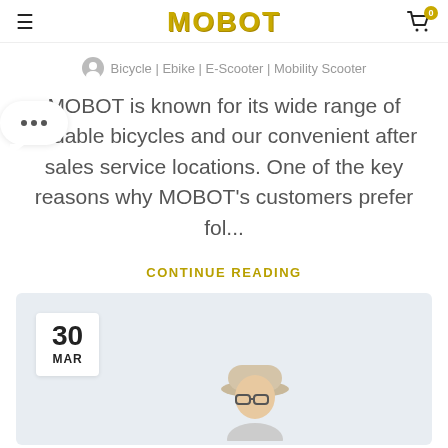MOBOT
Bicycle | Ebike | E-Scooter | Mobility Scooter
MOBOT is known for its wide range of foldable bicycles and our convenient after sales service locations. One of the key reasons why MOBOT's customers prefer fol...
CONTINUE READING
[Figure (photo): Blog post card with date badge showing 30 MAR and a partial photo of a person wearing a cap]